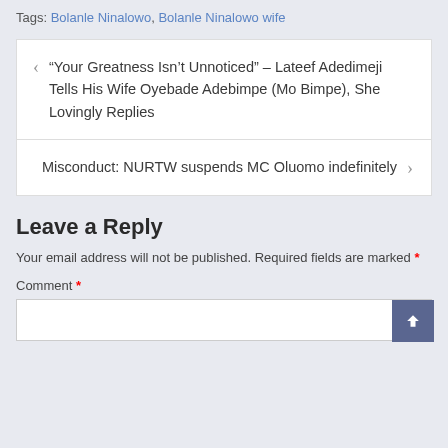Tags: Bolanle Ninalowo, Bolanle Ninalowo wife
“Your Greatness Isn’t Unnoticed” – Lateef Adedimeji Tells His Wife Oyebade Adebimpe (Mo Bimpe), She Lovingly Replies
Misconduct: NURTW suspends MC Oluomo indefinitely
Leave a Reply
Your email address will not be published. Required fields are marked *
Comment *